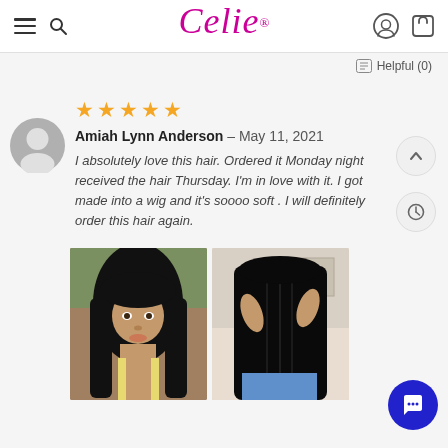Celie® — website header with navigation icons
Helpful (0)
[Figure (illustration): Five orange/gold star rating icons]
Amiah Lynn Anderson – May 11, 2021
I absolutely love this hair. Ordered it Monday night received the hair Thursday. I'm in love with it. I got made into a wig and it's soooo soft . I will definitely order this hair again.
[Figure (photo): Two side-by-side photos of a woman with long straight black hair, one front view selfie in a car and one back view in a bedroom]
[Figure (illustration): Blue circular chat/support button with speech bubble icon]